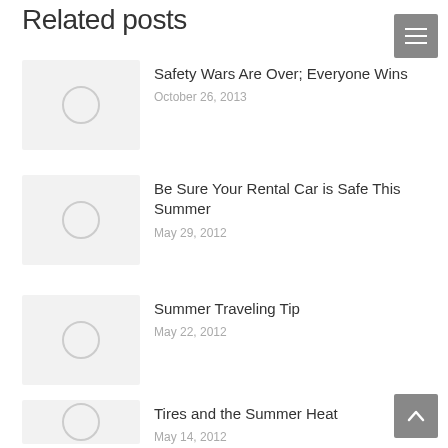Related posts
Safety Wars Are Over; Everyone Wins
October 26, 2013
Be Sure Your Rental Car is Safe This Summer
May 29, 2012
Summer Traveling Tip
May 22, 2012
Tires and the Summer Heat
May 14, 2012